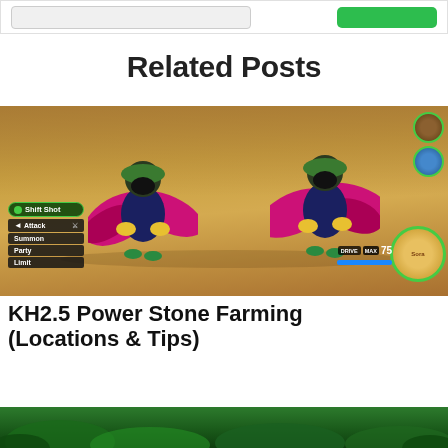[Figure (screenshot): Top bar with search box and green button]
Related Posts
[Figure (screenshot): Kingdom Hearts 2.5 gameplay screenshot showing two ninja-like enemies in a marketplace setting with game UI elements including Shift Shot, Attack, Summon, Party, Limit menus and DRIVE MAX 75 bar]
KH2.5 Power Stone Farming (Locations & Tips)
[Figure (photo): Partial view of a jungle/outdoor scene at the bottom of the page]